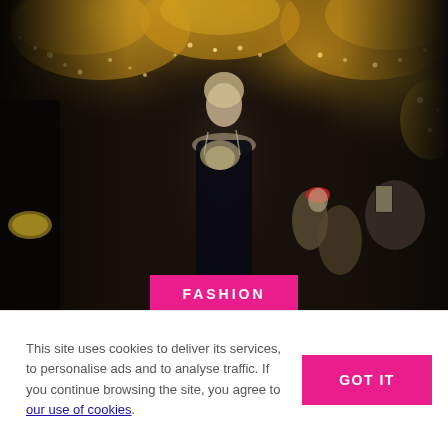[Figure (photo): A fashion runway photo showing a model walking in a dark, elegant venue filled with crystal chandeliers. The model wears a black sequined gown with cream/gold lace detailing at the bodice. Audience members with phones surround the runway. Warm golden chandelier light fills the background.]
FASHION
This site uses cookies to deliver its services, to personalise ads and to analyse traffic. If you continue browsing the site, you agree to our use of cookies.
GOT IT